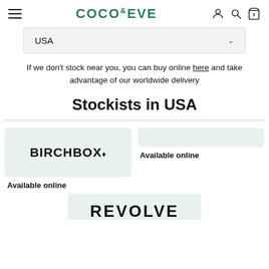COCO&EVE
USA
If we don't stock near you, you can buy online here and take advantage of our worldwide delivery
Stockists in USA
[Figure (logo): BIRCHBOX logo with diamond bullet]
Available online
[Figure (logo): Partially visible REVOLVE logo at bottom]
Available online